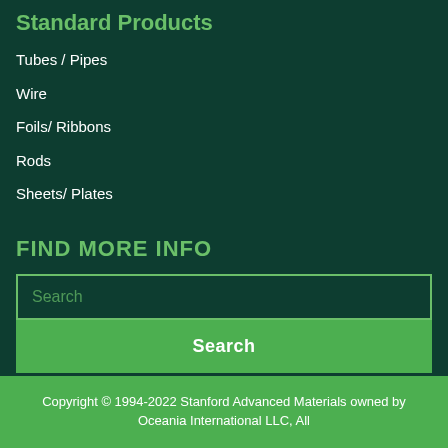Standard Products
Tubes / Pipes
Wire
Foils/ Ribbons
Rods
Sheets/ Plates
FIND MORE INFO
Search
Search
Copyright © 1994-2022 Stanford Advanced Materials owned by Oceania International LLC, All